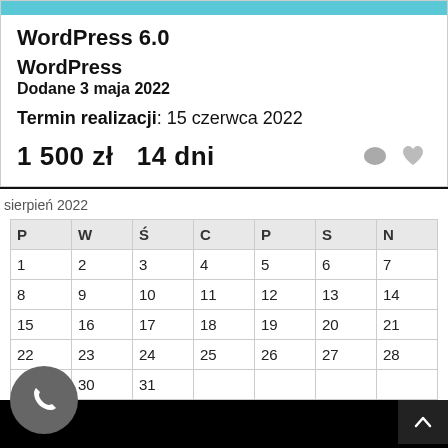WordPress 6.0
WordPress
Dodane 3 maja 2022
Termin realizacji: 15 czerwca 2022
1 500 zł   14 dni
sierpień 2022
| P | W | Ś | C | P | S | N |
| --- | --- | --- | --- | --- | --- | --- |
| 1 | 2 | 3 | 4 | 5 | 6 | 7 |
| 8 | 9 | 10 | 11 | 12 | 13 | 14 |
| 15 | 16 | 17 | 18 | 19 | 20 | 21 |
| 22 | 23 | 24 | 25 | 26 | 27 | 28 |
| 29 | 30 | 31 |  |  |  |  |